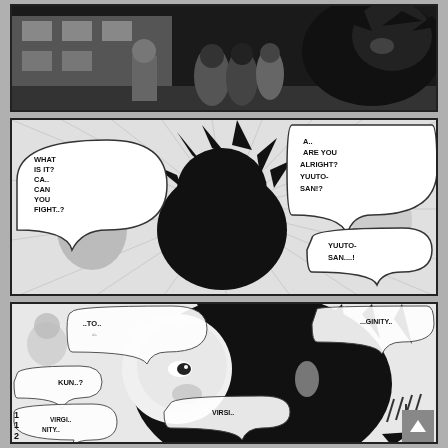[Figure (illustration): Top manga panel: dark scene with crowd of people in background, school or outdoor setting, black and white manga art style]
[Figure (illustration): Middle manga panel: action scene with spiky-haired character collapsed/staggering, speed lines radiating outward, two other characters reacting. Speech bubbles: left side 'WHAT IS IT? CA.. CAN YOU FIGHT..?', right side 'A.. ARE YOU ALRIGHT? YUUTO-SAN!?' and center-right 'YUUTO-SAN....!']
[Figure (illustration): Bottom large manga panel: close-up of spiky-haired character's face in shadow/darkness, speech bubbles showing partial words: '..TO..', 'KUN..?', 'VIRSI..', 'VIRGI..NITY..', '...GINITY..'. Page number 112 at bottom left, scroll-up button at bottom right.]